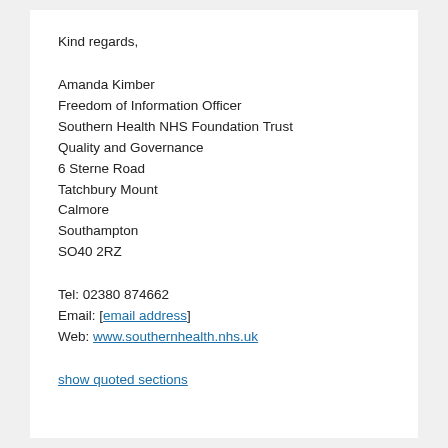Kind regards,
Amanda Kimber
Freedom of Information Officer
Southern Health NHS Foundation Trust
Quality and Governance
6 Sterne Road
Tatchbury Mount
Calmore
Southampton
SO40 2RZ
Tel: 02380 874662
Email: [email address]
Web: www.southernhealth.nhs.uk
show quoted sections